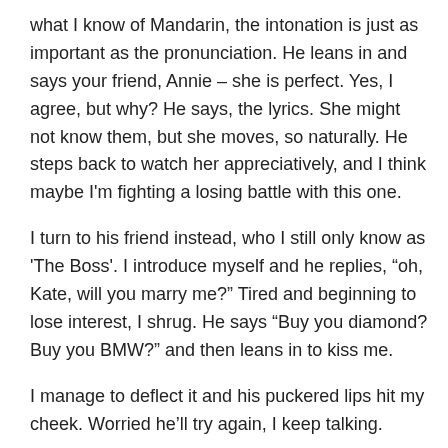what I know of Mandarin, the intonation is just as important as the pronunciation. He leans in and says your friend, Annie – she is perfect. Yes, I agree, but why? He says, the lyrics. She might not know them, but she moves, so naturally. He steps back to watch her appreciatively, and I think maybe I'm fighting a losing battle with this one.
I turn to his friend instead, who I still only know as 'The Boss'. I introduce myself and he replies, “oh, Kate, will you marry me?” Tired and beginning to lose interest, I shrug. He says “Buy you diamond? Buy you BMW?” and then leans in to kiss me.
I manage to deflect it and his puckered lips hit my cheek. Worried he’ll try again, I keep talking.
“Where are you from?” I ask, and he replies “Korea”.